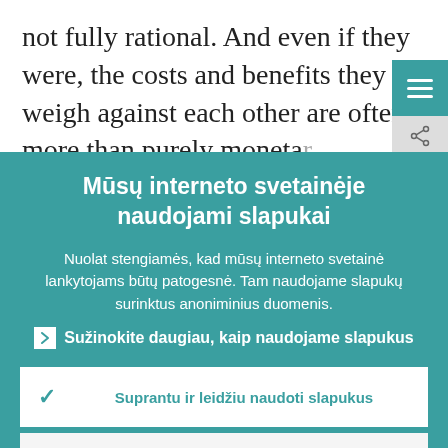not fully rational. And even if they were, the costs and benefits they weigh against each other are often more than purely monetary in nature. There is a vast personal and
Mūsų interneto svetainėje naudojami slapukai
Nuolat stengiamės, kad mūsų interneto svetainė lankytojams būtų patogesnė. Tam naudojame slapukų surinktus anoniminius duomenis.
Sužinokite daugiau, kaip naudojame slapukus
Suprantu ir leidžiu naudoti slapukus
Neleidžiu naudoti slapukų